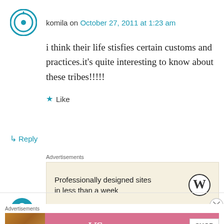komila on October 27, 2011 at 1:23 am
i think their life stisfies certain customs and practices.it's quite interesting to know about these tribes!!!!!
Like
Reply
Advertisements
[Figure (other): WordPress advertisement: Professionally designed sites in less than a week]
REPORT THIS AD
MANIKYA CHARAN HANSDAH on February 28,
Advertisements
[Figure (other): Victoria's Secret advertisement: SHOP THE COLLECTION - SHOP NOW]